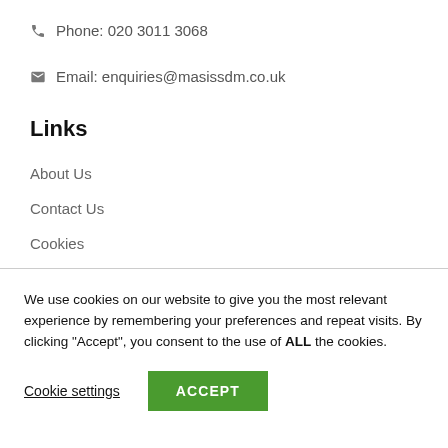Phone: 020 3011 3068
Email: enquiries@masissdm.co.uk
Links
About Us
Contact Us
Cookies
We use cookies on our website to give you the most relevant experience by remembering your preferences and repeat visits. By clicking “Accept”, you consent to the use of ALL the cookies.
Cookie settings | ACCEPT